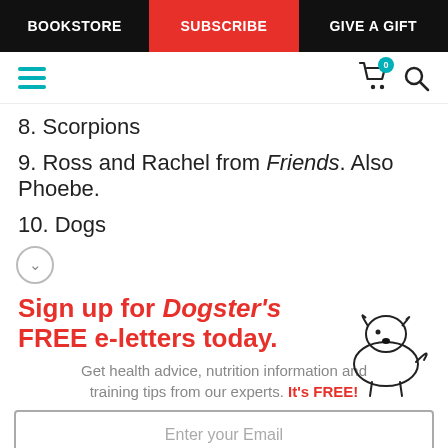BOOKSTORE | SUBSCRIBE | GIVE A GIFT
8. Scorpions
9. Ross and Rachel from Friends. Also Phoebe.
10. Dogs
Sign up for Dogster's FREE e-letters today.
Get health advice, nutrition information and training tips from our experts. It's FREE!
Enter your Email
YES! SIGN ME UP